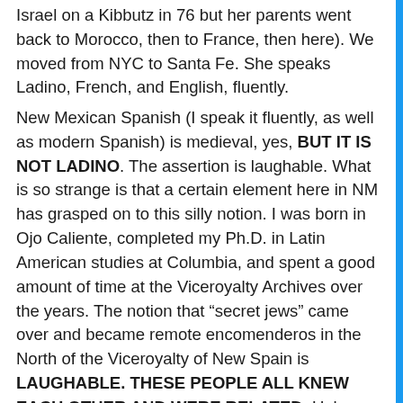Israel on a Kibbutz in 76 but her parents went back to Morocco, then to France, then here). We moved from NYC to Santa Fe. She speaks Ladino, French, and English, fluently.
New Mexican Spanish (I speak it fluently, as well as modern Spanish) is medieval, yes, BUT IT IS NOT LADINO. The assertion is laughable. What is so strange is that a certain element here in NM has grasped on to this silly notion. I was born in Ojo Caliente, completed my Ph.D. in Latin American studies at Columbia, and spent a good amount of time at the Viceroyalty Archives over the years. The notion that “secret jews” came over and became remote encomenderos in the North of the Viceroyalty of New Spain is LAUGHABLE. THESE PEOPLE ALL KNEW EACH OTHER AND WERE RELATED. Unless you were Hidalgo class or above, could PROVE Christian patrimony way back, and, (obviously) a peninsulare, you had pretty much close to ZERO chance of even EMIGRATING to New Spain for the first two centuries (they had all the slave class they needed here already amongst the